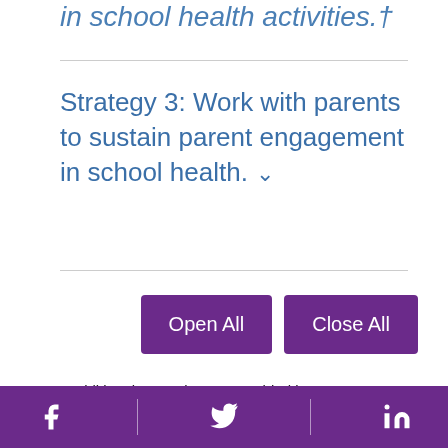in school health activities.†
Strategy 3: Work with parents to sustain parent engagement in school health.
Open All  Close All
* Additional examples are provided in Parent Engagement: Strategies for Involving Parents in School Health.
† Epstein, J. L. et al. (2009). School, family, and community partnerships: Your handbook for
Facebook | Twitter | LinkedIn